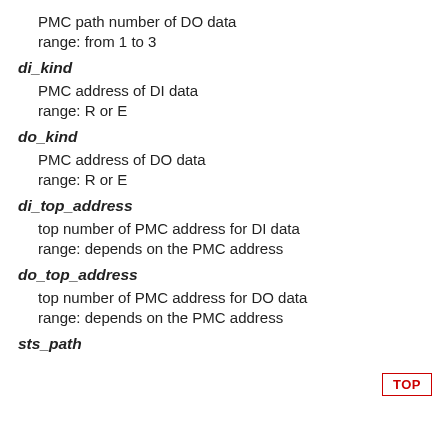PMC path number of DO data
range: from 1 to 3
di_kind
PMC address of DI data
range: R or E
do_kind
PMC address of DO data
range: R or E
di_top_address
top number of PMC address for DI data
range: depends on the PMC address
do_top_address
top number of PMC address for DO data
range: depends on the PMC address
sts_path